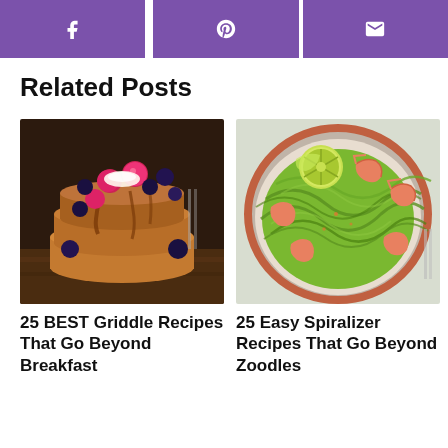f | p | [email]
Related Posts
[Figure (photo): Stack of fluffy pancakes topped with raspberries, blueberries, and syrup on a wooden surface]
25 BEST Griddle Recipes That Go Beyond Breakfast
[Figure (photo): Bowl of zucchini noodles with shrimp, lime slices, garnished and served in a round bowl]
25 Easy Spiralizer Recipes That Go Beyond Zoodles